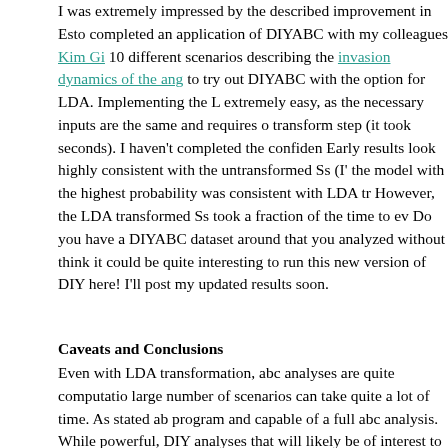I was extremely impressed by the described improvement in Esto completed an application of DIYABC with my colleagues Kim Gi 10 different scenarios describing the invasion dynamics of the ang to try out DIYABC with the option for LDA. Implementing the L extremely easy, as the necessary inputs are the same and requires transform step (it took seconds). I haven't completed the confiden Early results look highly consistent with the untransformed Ss (I' the model with the highest probability was consistent with LDA t However, the LDA transformed Ss took a fraction of the time to e Do you have a DIYABC dataset around that you analyzed without think it could be quite interesting to run this new version of DIY here! I'll post my updated results soon.
Caveats and Conclusions
Even with LDA transformation, abc analyses are quite computatio large number of scenarios can take quite a lot of time. As stated a program and capable of a full abc analysis. While powerful, DIY analyses that will likely be of interest to molecular biologists. Ma focusing on different sorts of research questions exist. LDA trans